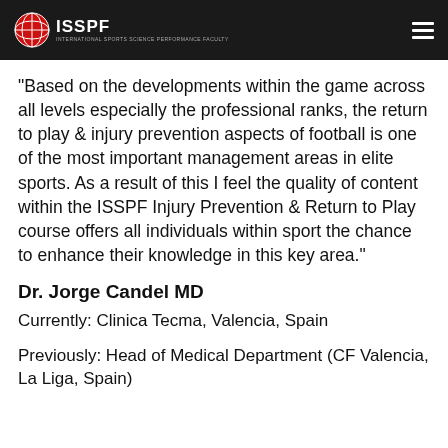ISSPF
"Based on the developments within the game across all levels especially the professional ranks, the return to play & injury prevention aspects of football is one of the most important management areas in elite sports. As a result of this I feel the quality of content within the ISSPF Injury Prevention & Return to Play course offers all individuals within sport the chance to enhance their knowledge in this key area."
Dr. Jorge Candel MD
Currently: Clinica Tecma, Valencia, Spain
Previously: Head of Medical Department (CF Valencia, La Liga, Spain)